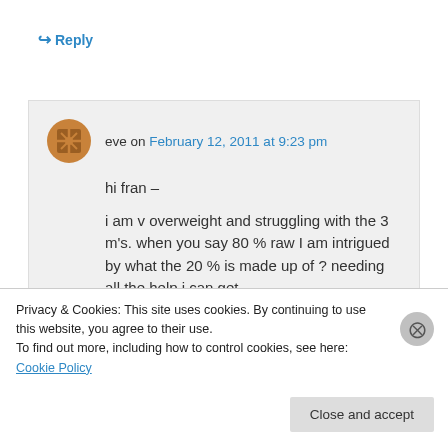↳ Reply
eve on February 12, 2011 at 9:23 pm
hi fran –
i am v overweight and struggling with the 3 m's. when you say 80 % raw I am intrigued by what the 20 % is made up of ? needing all the help i can get
thanks
Privacy & Cookies: This site uses cookies. By continuing to use this website, you agree to their use.
To find out more, including how to control cookies, see here: Cookie Policy
Close and accept